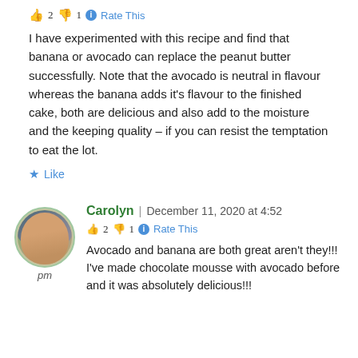👍 2 👎 1 ℹ️ Rate This
I have experimented with this recipe and find that banana or avocado can replace the peanut butter successfully. Note that the avocado is neutral in flavour whereas the banana adds it's flavour to the finished cake, both are delicious and also add to the moisture and the keeping quality – if you can resist the temptation to eat the lot.
★ Like
Carolyn | December 11, 2020 at 4:52 pm
👍 2 👎 1 ℹ️ Rate This
Avocado and banana are both great aren't they!!! I've made chocolate mousse with avocado before and it was absolutely delicious!!!